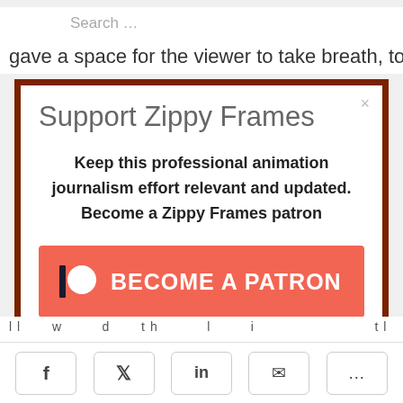Search …
gave a space for the viewer to take breath, to
Support Zippy Frames
Keep this professional animation journalism effort relevant and updated. Become a Zippy Frames patron
[Figure (other): Patreon button with Patreon logo icon and text BECOME A PATRON on a coral/salmon colored background]
f  y  in  ✉  ...